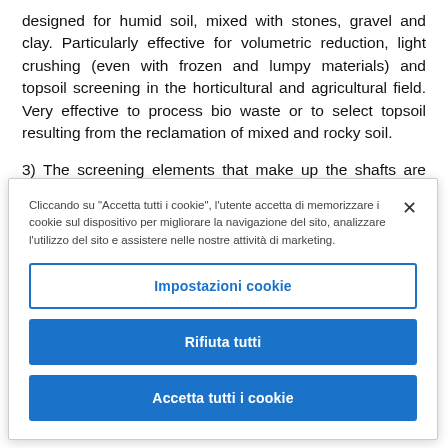designed for humid soil, mixed with stones, gravel and clay. Particularly effective for volumetric reduction, light crushing (even with frozen and lumpy materials) and topsoil screening in the horticultural and agricultural field. Very effective to process bio waste or to select topsoil resulting from the reclamation of mixed and rocky soil.
3) The screening elements that make up the shafts are composed of discs and blades of different diameters which
Cliccando su "Accetta tutti i cookie", l'utente accetta di memorizzare i cookie sul dispositivo per migliorare la navigazione del sito, analizzare l'utilizzo del sito e assistere nelle nostre attività di marketing.
Impostazioni cookie
Rifiuta tutti
Accetta tutti i cookie